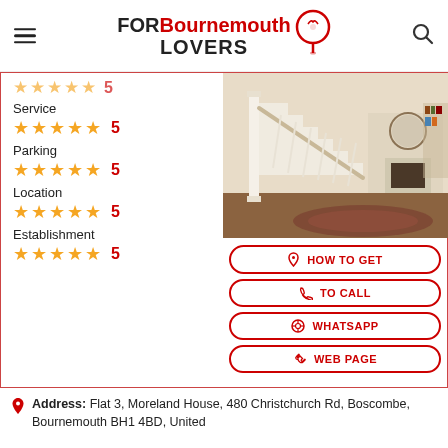FOR Bournemouth LOVERS
Service ★★★★★ 5
Parking ★★★★★ 5
Location ★★★★★ 5
Establishment ★★★★★ 5
[Figure (photo): Interior photo showing a white wooden staircase with balusters in a home hallway, with a patterned rug on wooden floor and a fireplace/mirror visible in the background]
HOW TO GET
TO CALL
WHATSAPP
WEB PAGE
Address: Flat 3, Moreland House, 480 Christchurch Rd, Boscombe, Bournemouth BH1 4BD, United